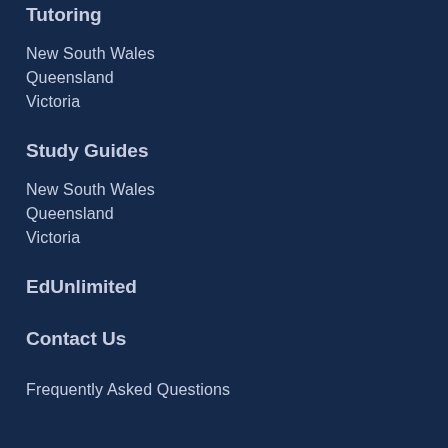Tutoring
New South Wales
Queensland
Victoria
Study Guides
New South Wales
Queensland
Victoria
EdUnlimited
Contact Us
Frequently Asked Questions